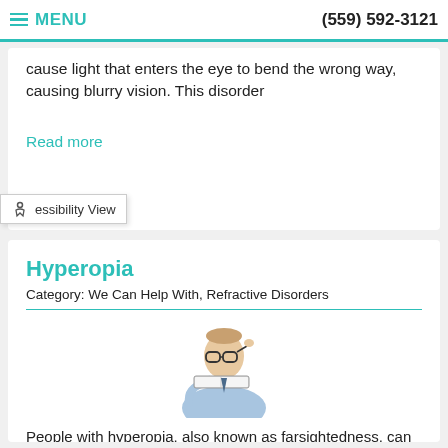MENU | (559) 592-3121
many people have an irregularly shaped cornea while others have an irregularly curved lens. Both cases can cause light that enters the eye to bend the wrong way, causing blurry vision. This disorder
Read more
essibility View
Hyperopia
Category: We Can Help With, Refractive Disorders
[Figure (photo): An older man in a blue shirt holding a book close to his face and lifting his glasses to try to read it.]
People with hyperopia, also known as farsightedness, can usually see objects in the distance, but their close vision is blurry. Symptoms of untreated hyperopia